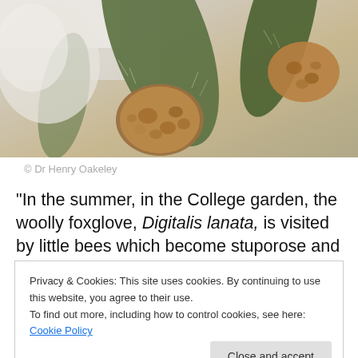[Figure (photo): Close-up photograph of woolly foxglove (Digitalis lanata) showing seed pods and hairy stems with green leaves, brown textured seed capsules visible]
© Dr Henry Oakeley
“In the summer, in the College garden, the woolly foxglove, Digitalis lanata, is visited by little bees which become stuporose and lie upside down in the flowers, seeming unable to fly away when disturbed.” –Dr Henry
Privacy & Cookies: This site uses cookies. By continuing to use this website, you agree to their use.
To find out more, including how to control cookies, see here: Cookie Policy
the intoxicating inhabitants of the physicians’ Medicinal